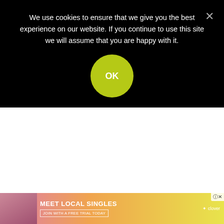We use cookies to ensure that we give you the best experience on our website. If you continue to use this site we will assume that you are happy with it.
In a series of studies by John Cacioppo, then at Ohio State University, now at the University of Chicago, he showed that the
[Figure (screenshot): Advertisement banner at the bottom: Meet Local Singles – Join with a free trial today, Clover app ad with woman photo and pink/yellow gradient background]